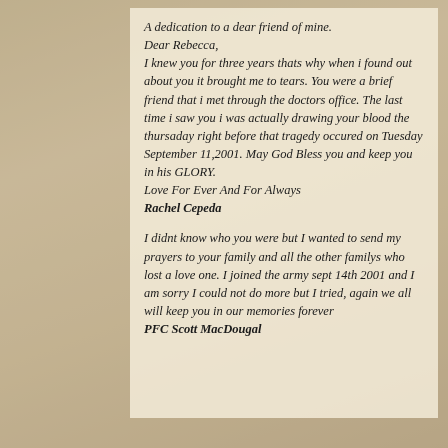A dedication to a dear friend of mine.
Dear Rebecca,
I knew you for three years thats why when i found out about you it brought me to tears. You were a brief friend that i met through the doctors office. The last time i saw you i was actually drawing your blood the thursaday right before that tragedy occured on Tuesday September 11,2001. May God Bless you and keep you in his GLORY.
Love For Ever And For Always
Rachel Cepeda
I didnt know who you were but I wanted to send my prayers to your family and all the other familys who lost a love one. I joined the army sept 14th 2001 and I am sorry I could not do more but I tried, again we all will keep you in our memories forever
PFC Scott MacDougal